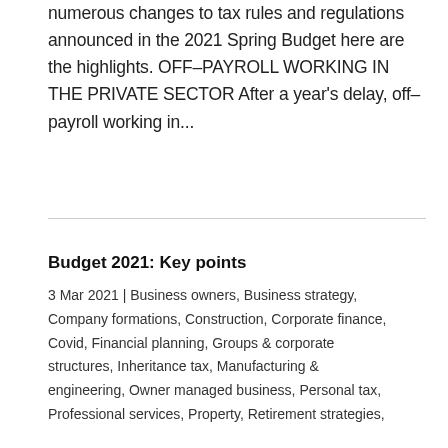numerous changes to tax rules and regulations announced in the 2021 Spring Budget here are the highlights. OFF–PAYROLL WORKING IN THE PRIVATE SECTOR After a year's delay, off–payroll working in...
Budget 2021: Key points
3 Mar 2021 | Business owners, Business strategy, Company formations, Construction, Corporate finance, Covid, Financial planning, Groups & corporate structures, Inheritance tax, Manufacturing & engineering, Owner managed business, Personal tax, Professional services, Property, Retirement strategies,